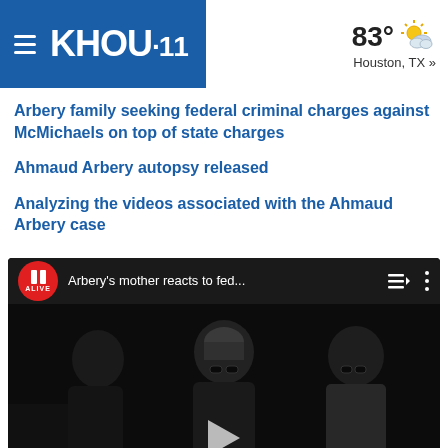KHOU 11  83° Houston, TX »
Arbery family seeking federal criminal charges against McMichaels on top of state charges
Ahmaud Arbery autopsy released
Analyzing the videos associated with the Ahmaud Arbery case
[Figure (screenshot): YouTube video embed with '11 ALIVE' logo and title 'Arbery's mother reacts to fed...' with dark video thumbnail showing people standing, a play button visible at bottom center]